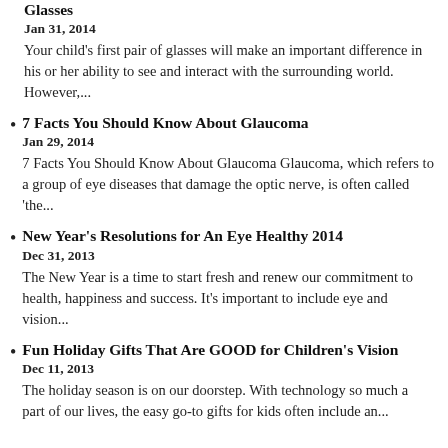Glasses
Jan 31, 2014
Your child's first pair of glasses will make an important difference in his or her ability to see and interact with the surrounding world. However,...
7 Facts You Should Know About Glaucoma
Jan 29, 2014
7 Facts You Should Know About Glaucoma Glaucoma, which refers to a group of eye diseases that damage the optic nerve, is often called 'the...
New Year's Resolutions for An Eye Healthy 2014
Dec 31, 2013
The New Year is a time to start fresh and renew our commitment to health, happiness and success. It's important to include eye and vision...
Fun Holiday Gifts That Are GOOD for Children's Vision
Dec 11, 2013
The holiday season is on our doorstep. With technology so much a part of our lives, the easy go-to gifts for kids often include an...